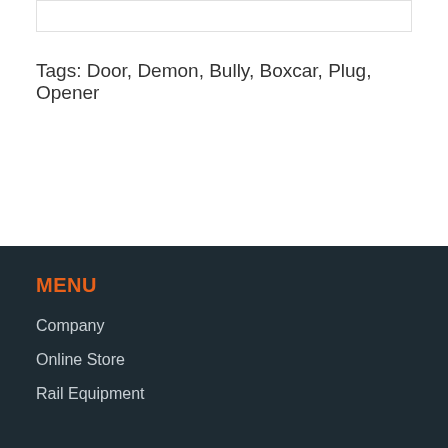Tags: Door, Demon, Bully, Boxcar, Plug, Opener
MENU
Company
Online Store
Rail Equipment